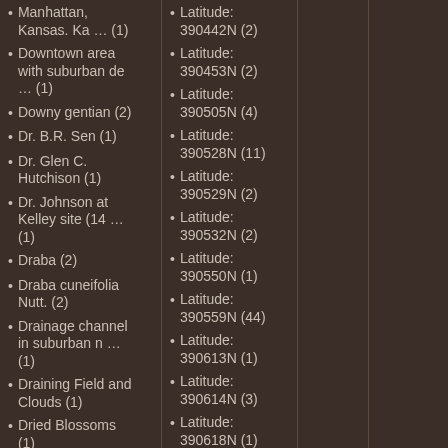Manhattan, Kansas. Ka … (1)
Downtown area with suburban de … (1)
Downy gentian (2)
Dr. B.R. Sen (1)
Dr. Glen C. Hutchison (1)
Dr. Johnson at Kelley site (14 … (1)
Draba (2)
Draba cuneifolia Nutt. (2)
Drainage channel in suburban n … (1)
Draining Field and Clouds (1)
Dried Blossoms (1)
Dried Bluestem (1)
Latitude: 390442N (2)
Latitude: 390453N (2)
Latitude: 390505N (4)
Latitude: 390528N (11)
Latitude: 390529N (2)
Latitude: 390532N (2)
Latitude: 390550N (1)
Latitude: 390559N (44)
Latitude: 390613N (1)
Latitude: 390614N (3)
Latitude: 390618N (1)
Latitude: